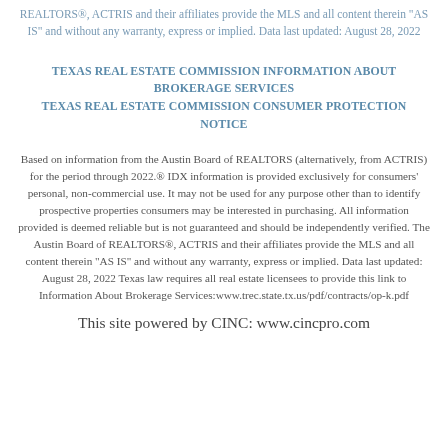REALTORS®, ACTRIS and their affiliates provide the MLS and all content therein "AS IS" and without any warranty, express or implied. Data last updated: August 28, 2022
TEXAS REAL ESTATE COMMISSION INFORMATION ABOUT BROKERAGE SERVICES
TEXAS REAL ESTATE COMMISSION CONSUMER PROTECTION NOTICE
Based on information from the Austin Board of REALTORS (alternatively, from ACTRIS) for the period through 2022.® IDX information is provided exclusively for consumers' personal, non-commercial use. It may not be used for any purpose other than to identify prospective properties consumers may be interested in purchasing. All information provided is deemed reliable but is not guaranteed and should be independently verified. The Austin Board of REALTORS®, ACTRIS and their affiliates provide the MLS and all content therein "AS IS" and without any warranty, express or implied. Data last updated: August 28, 2022 Texas law requires all real estate licensees to provide this link to Information About Brokerage Services:www.trec.state.tx.us/pdf/contracts/op-k.pdf
This site powered by CINC: www.cincpro.com